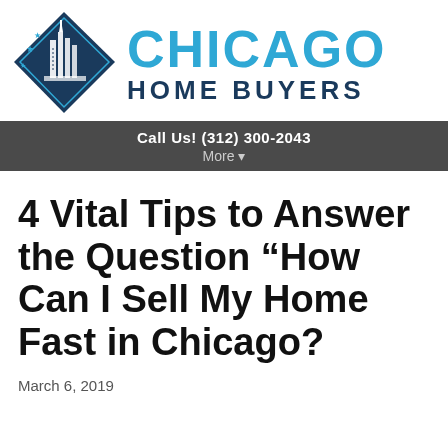[Figure (logo): Chicago Home Buyers logo: diamond-shaped icon with Chicago skyline and stars on left, 'CHICAGO' in large blue text and 'HOME BUYERS' in dark navy text on right]
Call Us! (312) 300-2043
More ▾
4 Vital Tips to Answer the Question “How Can I Sell My Home Fast in Chicago?
March 6, 2019